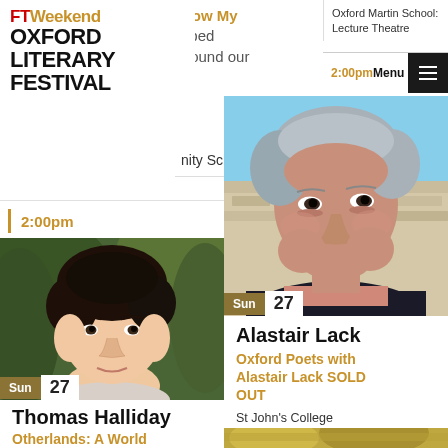FT Weekend Oxford Literary Festival
How My [escaped] Found our
Oxford Martin School: Lecture Theatre
2:00pm
Menu
nity School
2:00pm
[Figure (photo): Portrait photo of Thomas Halliday, a young man with curly dark hair]
Sun 27
Thomas Halliday
Otherlands: A World in the Making
St Cross College
[Figure (photo): Portrait photo of Alastair Lack, an older man with grey hair photographed outdoors]
Sun 27
Alastair Lack
Oxford Poets with Alastair Lack SOLD OUT
St John's College
2:00pm
[Figure (photo): Partial photo visible at bottom right, yellow-green tones]